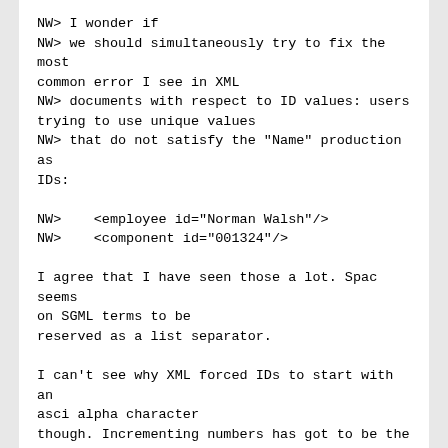NW> I wonder if
NW> we should simultaneously try to fix the most common error I see in XML
NW> documents with respect to ID values: users trying to use unique values
NW> that do not satisfy the "Name" production as IDs:

NW>    <employee id="Norman Walsh"/>
NW>    <component id="001324"/>

I agree that I have seen those a lot. Spac seems on SGML terms to be
reserved as a list separator.

I can't see why XML forced IDs to start with an asci alpha character
though. Incrementing numbers has got to be the single most widely used
way of generating a large number of unique identifiers in the world.

Calling them i0001 i0002 i0003 i0004 is like FORTRAN all over again.


NW> I've seen several variations of the latter example where the name of